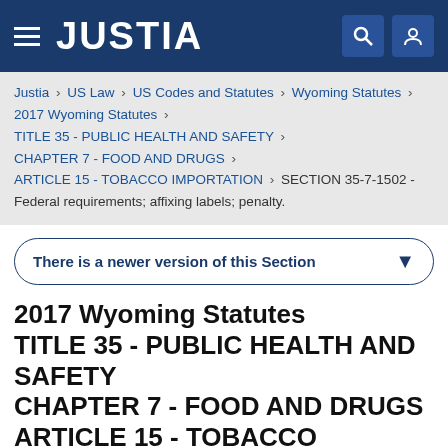JUSTIA
Justia › US Law › US Codes and Statutes › Wyoming Statutes › 2017 Wyoming Statutes › TITLE 35 - PUBLIC HEALTH AND SAFETY › CHAPTER 7 - FOOD AND DRUGS › ARTICLE 15 - TOBACCO IMPORTATION › SECTION 35-7-1502 - Federal requirements; affixing labels; penalty.
There is a newer version of this Section
2017 Wyoming Statutes TITLE 35 - PUBLIC HEALTH AND SAFETY CHAPTER 7 - FOOD AND DRUGS ARTICLE 15 - TOBACCO IMPORTATION SECTION 35-7-1502 - Federal